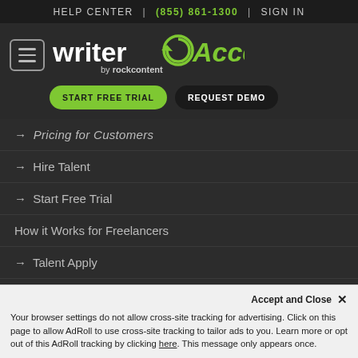HELP CENTER | (855) 861-1300 | SIGN IN
[Figure (logo): WriterAccess by rockcontent logo with green and white text and circular arrow icon]
START FREE TRIAL
REQUEST DEMO
→ Pricing for Customers
→ Hire Talent
→ Start Free Trial
How it Works for Freelancers
→ Talent Apply
[Figure (other): Social media icons row: Facebook, Twitter, LinkedIn, RSS, Instagram]
Your browser settings do not allow cross-site tracking for advertising. Click on this page to allow AdRoll to use cross-site tracking to tailor ads to you. Learn more or opt out of this AdRoll tracking by clicking here. This message only appears once.